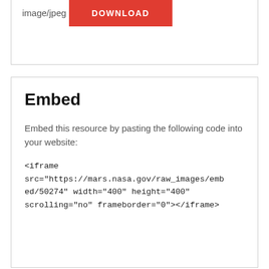image/jpeg
DOWNLOAD
Embed
Embed this resource by pasting the following code into your website:
<iframe src="https://mars.nasa.gov/raw_images/embed/50274" width="400" height="400" scrolling="no" frameborder="0"></iframe>
You Mi Thi...